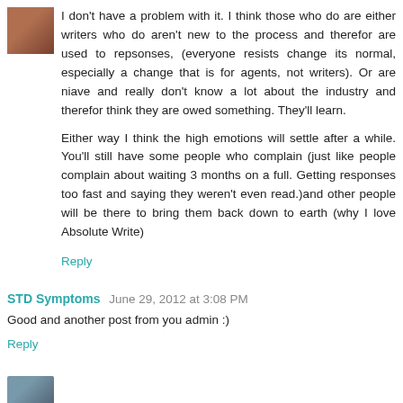[Figure (photo): Small avatar/profile photo of a person in the top left corner]
I don't have a problem with it. I think those who do are either writers who do aren't new to the process and therefor are used to repsonses, (everyone resists change its normal, especially a change that is for agents, not writers). Or are niave and really don't know a lot about the industry and therefor think they are owed something. They'll learn.

Either way I think the high emotions will settle after a while. You'll still have some people who complain (just like people complain about waiting 3 months on a full. Getting responses too fast and saying they weren't even read.)and other people will be there to bring them back down to earth (why I love Absolute Write)
Reply
STD Symptoms June 29, 2012 at 3:08 PM
Good and another post from you admin :)
Reply